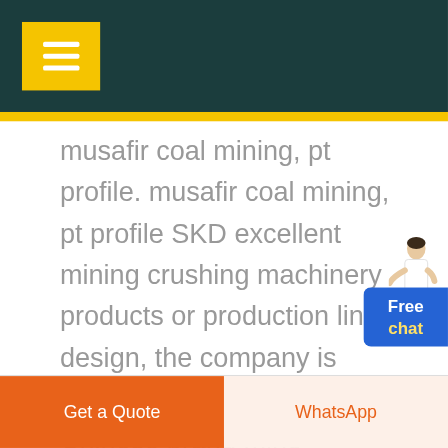musafir coal mining, pt profile. musafir coal mining, pt profile SKD excellent mining crushing machinery products or production line design, the company is committed to building the Chinese brand mine crushing and processing machinery, mainly crusher, mill, sand making our products (musafir coal mining, pt profile) in more than one hundred of ...
GET PRICE
Get a Quote | WhatsApp